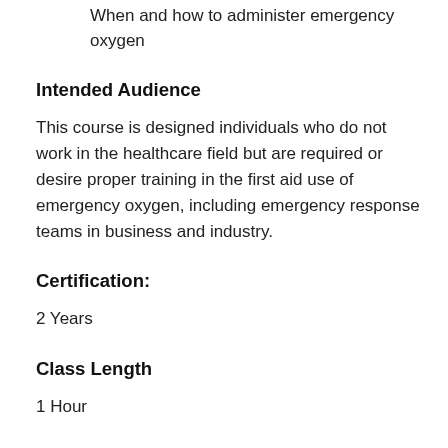When and how to administer emergency oxygen
Intended Audience
This course is designed individuals who do not work in the healthcare field but are required or desire proper training in the first aid use of emergency oxygen, including emergency response teams in business and industry.
Certification:
2 Years
Class Length
1 Hour